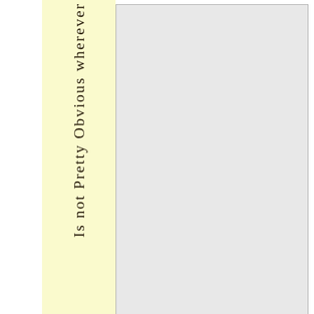Is not Pretty Obvious wherever